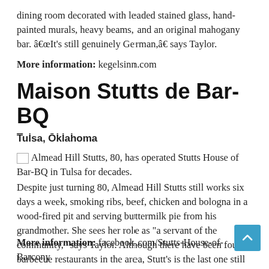dining room decorated with leaded stained glass, hand-painted murals, heavy beams, and an original mahogany bar. “It’s still genuinely German,” says Taylor.
More information: kegelsinn.com
Maison Stutts de Bar-BQ
Tulsa, Oklahoma
[Figure (photo): Image placeholder: Almead Hill Stutts, 80, has operated Stutts House of Bar-BQ in Tulsa for decades.]
Almead Hill Stutts, 80, has operated Stutts House of Bar-BQ in Tulsa for decades.
Despite just turning 80, Almead Hill Stutts still works six days a week, smoking ribs, beef, chicken and bologna in a wood-fired pit and serving buttermilk pie from his grandmother. She sees her role as “a servant of the community,” says Taylor. Although there have been four barbecue restaurants in the area, Stutt's is the last one still open.
More information: facebook.com/Stutts-House-of-Barcony